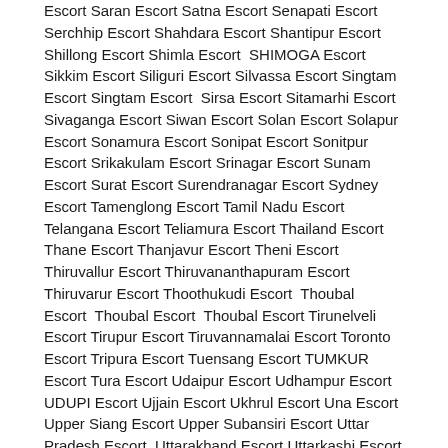Escort Saran Escort Satna Escort Senapati Escort Serchhip Escort Shahdara Escort Shantipur Escort Shillong Escort Shimla Escort SHIMOGA Escort Sikkim Escort Siliguri Escort Silvassa Escort Singtam Escort Singtam Escort Sirsa Escort Sitamarhi Escort Sivaganga Escort Siwan Escort Solan Escort Solapur Escort Sonamura Escort Sonipat Escort Sonitpur Escort Srikakulam Escort Srinagar Escort Sunam Escort Surat Escort Surendranagar Escort Sydney Escort Tamenglong Escort Tamil Nadu Escort Telangana Escort Teliamura Escort Thailand Escort Thane Escort Thanjavur Escort Theni Escort Thiruvallur Escort Thiruvananthapuram Escort Thiruvarur Escort Thoothukudi Escort Thoubal Escort Thoubal Escort Thoubal Escort Tirunelveli Escort Tirupur Escort Tiruvannamalai Escort Toronto Escort Tripura Escort Tuensang Escort TUMKUR Escort Tura Escort Udaipur Escort Udhampur Escort UDUPI Escort Ujjain Escort Ukhrul Escort Una Escort Upper Siang Escort Upper Subansiri Escort Uttar Pradesh Escort Uttarakhand Escort Uttarkashi Escort Vadodara Escort Vaishali